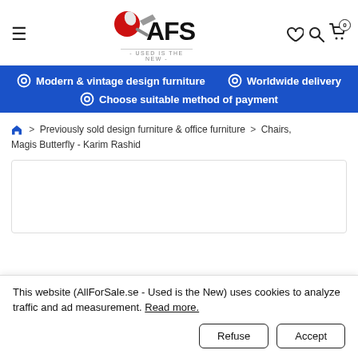AFS - Used is the New - [navigation header with hamburger menu, logo, and icons]
Modern & vintage design furniture  ◉  Worldwide delivery  ◉  Choose suitable method of payment
🏠 > Previously sold design furniture & office furniture > Chairs, Magis Butterfly - Karim Rashid
[Figure (other): Product image area (empty/blank white box with border)]
This website (AllForSale.se - Used is the New) uses cookies to analyze traffic and ad measurement. Read more.